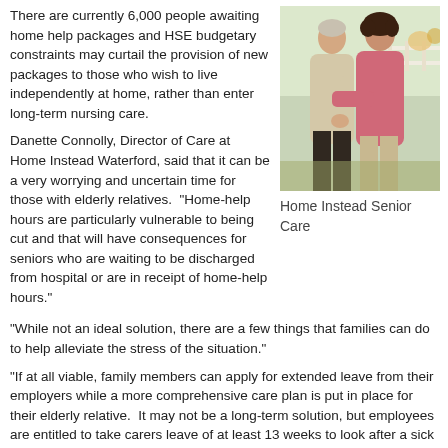There are currently 6,000 people awaiting home help packages and HSE budgetary constraints may curtail the provision of new packages to those who wish to live independently at home, rather than enter long-term nursing care.
[Figure (photo): Two women outdoors, one elderly and one middle-aged, appearing to be a caregiver and care recipient, standing near a white fence with flowers in the background.]
Home Instead Senior Care
Danette Connolly, Director of Care at Home Instead Waterford, said that it can be a very worrying and uncertain time for those with elderly relatives. “Home-help hours are particularly vulnerable to being cut and that will have consequences for seniors who are waiting to be discharged from hospital or are in receipt of home-help hours.”
“While not an ideal solution, there are a few things that families can do to help alleviate the stress of the situation.”
“If at all viable, family members can apply for extended leave from their employers while a more comprehensive care plan is put in place for their elderly relative. It may not be a long-term solution, but employees are entitled to take carers leave of at least 13 weeks to look after a sick or elderly relative.”
“If a family member takes extended leave, they may qualify for Carer’s Benefit. This payment is made to insured people who leave the workforce to care for a person in need of full-time care.”
Having a hospital discharge plan in place for an elderly relative coming home from